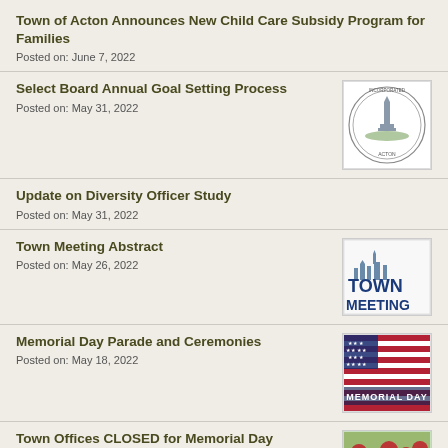Town of Acton Announces New Child Care Subsidy Program for Families
Posted on: June 7, 2022
Select Board Annual Goal Setting Process
Posted on: May 31, 2022
[Figure (illustration): Town of Acton seal/logo, circular emblem with monument]
Update on Diversity Officer Study
Posted on: May 31, 2022
Town Meeting Abstract
Posted on: May 26, 2022
[Figure (illustration): Town Meeting graphic with blue text TOWN MEETING and monument silhouette]
Memorial Day Parade and Ceremonies
Posted on: May 18, 2022
[Figure (photo): American flag waving, with MEMORIAL DAY text overlay]
Town Offices CLOSED for Memorial Day
[Figure (photo): Partial image, appears to be flowers or flags]